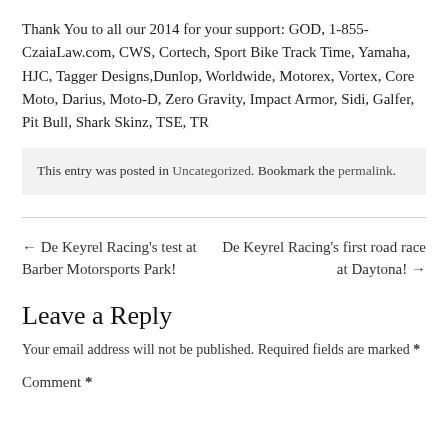Thank You to all our 2014 for your support: GOD, 1-855-CzaiaLaw.com, CWS, Cortech, Sport Bike Track Time, Yamaha, HJC, Tagger Designs, Dunlop, Worldwide, Motorex, Vortex, Core Moto, Darius, Moto-D, Zero Gravity, Impact Armor, Sidi, Galfer, Pit Bull, Shark Skinz, TSE, TR
This entry was posted in Uncategorized. Bookmark the permalink.
← De Keyrel Racing's test at Barber Motorsports Park!
De Keyrel Racing's first road race at Daytona! →
Leave a Reply
Your email address will not be published. Required fields are marked *
Comment *